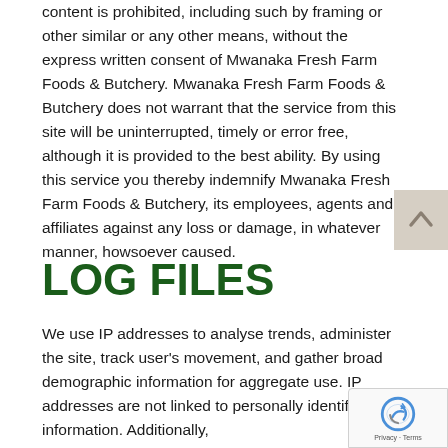content is prohibited, including such by framing or other similar or any other means, without the express written consent of Mwanaka Fresh Farm Foods & Butchery. Mwanaka Fresh Farm Foods & Butchery does not warrant that the service from this site will be uninterrupted, timely or error free, although it is provided to the best ability. By using this service you thereby indemnify Mwanaka Fresh Farm Foods & Butchery, its employees, agents and affiliates against any loss or damage, in whatever manner, howsoever caused.
LOG FILES
We use IP addresses to analyse trends, administer the site, track user's movement, and gather broad demographic information for aggregate use. IP addresses are not linked to personally identifiable information. Additionally,